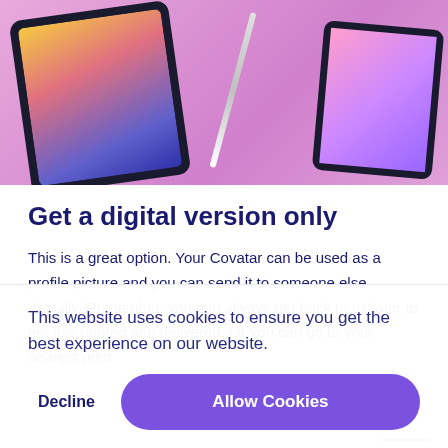[Figure (screenshot): Hero image showing two tablets on a pink/purple background. Left tablet displays a digital avatar of a woman with curly dark hair. Right tablet shows a colorful cartoon-style avatar with flamingo. A white stylus is visible between them.]
Get a digital version only
This is a great option. Your Covatar can be used as a profile picture and you can send it to someone else virtually. Remember, you can always get back to us later to get this printed and delivered. Or you can go to your nearest print
This website uses cookies to ensure you get the best experience on our website.